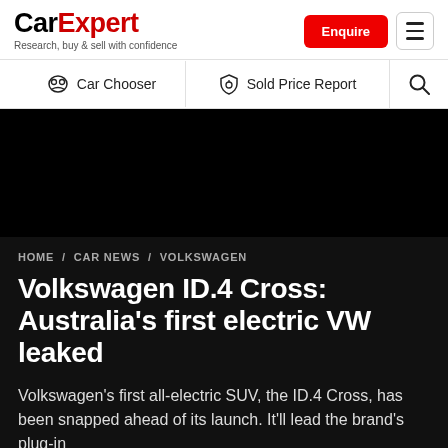CarExpert — Research, buy & sell with confidence
Car Chooser | Sold Price Report
[Figure (photo): Black/dark area representing an article hero image for the Volkswagen ID.4 Cross article]
HOME / CAR NEWS / VOLKSWAGEN
Volkswagen ID.4 Cross: Australia's first electric VW leaked
Volkswagen's first all-electric SUV, the ID.4 Cross, has been snapped ahead of its launch. It'll lead the brand's plug-in